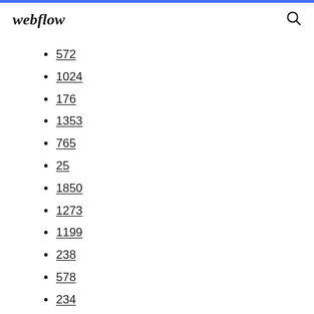webflow
572
1024
176
1353
765
25
1850
1273
1199
238
578
234